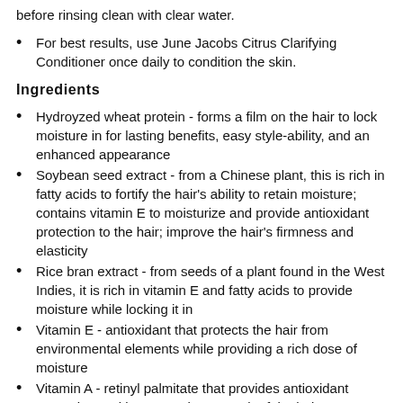before rinsing clean with clear water.
For best results, use June Jacobs Citrus Clarifying Conditioner once daily to condition the skin.
Ingredients
Hydroyzed wheat protein - forms a film on the hair to lock moisture in for lasting benefits, easy style-ability, and an enhanced appearance
Soybean seed extract - from a Chinese plant, this is rich in fatty acids to fortify the hair's ability to retain moisture; contains vitamin E to moisturize and provide antioxidant protection to the hair; improve the hair's firmness and elasticity
Rice bran extract - from seeds of a plant found in the West Indies, it is rich in vitamin E and fatty acids to provide moisture while locking it in
Vitamin E - antioxidant that protects the hair from environmental elements while providing a rich dose of moisture
Vitamin A - retinyl palmitate that provides antioxidant protection and improves the strength of the hair
Panthenol - humectant that draws moisture into the hair for a smooth, silky texture